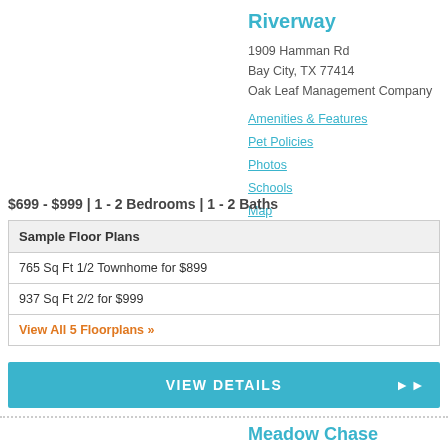Riverway
1909 Hamman Rd
Bay City, TX 77414
Oak Leaf Management Company
Amenities & Features
Pet Policies
Photos
Schools
Map
$699 - $999 | 1 - 2 Bedrooms | 1 - 2 Baths
| Sample Floor Plans |
| --- |
| 765 Sq Ft 1/2 Townhome for $899 |
| 937 Sq Ft 2/2 for $999 |
| View All 5 Floorplans » |
VIEW DETAILS
Meadow Chase
4901 Misty Lane
Bay City, TX 77414